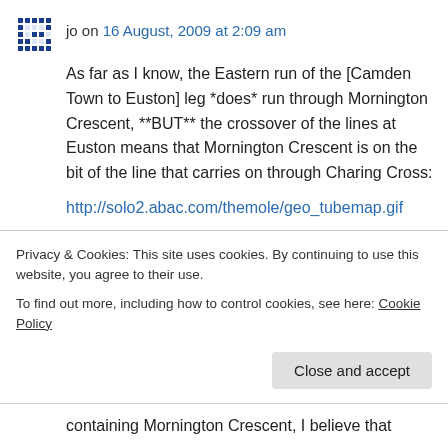jo on 16 August, 2009 at 2:09 am
As far as I know, the Eastern run of the [Camden Town to Euston] leg *does* run through Mornington Crescent, **BUT** the crossover of the lines at Euston means that Mornington Crescent is on the bit of the line that carries on through Charing Cross:
http://solo2.abac.com/themole/geo_tubemap.gif
—
http://web.archive.org/web/20060416123536/ww
Privacy & Cookies: This site uses cookies. By continuing to use this website, you agree to their use. To find out more, including how to control cookies, see here: Cookie Policy
containing Mornington Crescent, I believe that